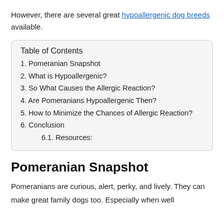However, there are several great hypoallergenic dog breeds available.
| Table of Contents |
| --- |
| 1. Pomeranian Snapshot |
| 2. What is Hypoallergenic? |
| 3. So What Causes the Allergic Reaction? |
| 4. Are Pomeranians Hypoallergenic Then? |
| 5. How to Minimize the Chances of Allergic Reaction? |
| 6. Conclusion |
| 6.1. Resources: |
Pomeranian Snapshot
Pomeranians are curious, alert, perky, and lively. They can make great family dogs too. Especially when well